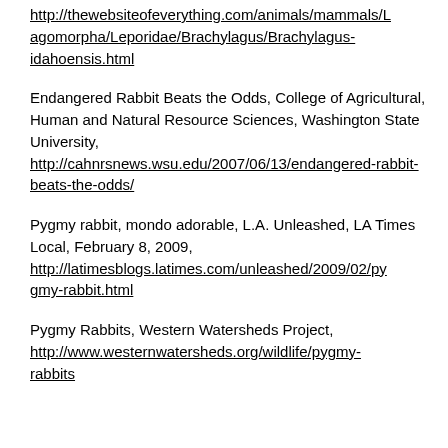http://thewebsiteofeverything.com/animals/mammals/Lagomorpha/Leporidae/Brachylagus/Brachylagus-idahoensis.html
Endangered Rabbit Beats the Odds, College of Agricultural, Human and Natural Resource Sciences, Washington State University, http://cahnrsnews.wsu.edu/2007/06/13/endangered-rabbit-beats-the-odds/
Pygmy rabbit, mondo adorable, L.A. Unleashed, LA Times Local, February 8, 2009, http://latimesblogs.latimes.com/unleashed/2009/02/pygmy-rabbit.html
Pygmy Rabbits, Western Watersheds Project, http://www.westernwatersheds.org/wildlife/pygmy-rabbits